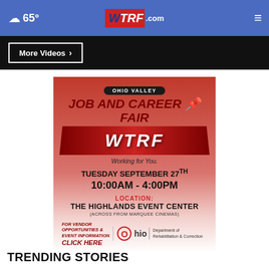65° WTRF.com
More Videos ›
[Figure (infographic): Ohio Valley Job and Career Fair advertisement featuring WTRF branding. Red gradient background. Event details: Tuesday September 27th, 10:00AM - 4:00PM, Location: The Highlands Event Center (Across From Marquee Cinemas). For vendor opportunities & event information click here. Ohio Department of Rehabilitation & Correction logo.]
TRENDING STORIES